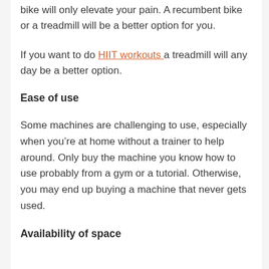bike will only elevate your pain. A recumbent bike or a treadmill will be a better option for you.
If you want to do HIIT workouts a treadmill will any day be a better option.
Ease of use
Some machines are challenging to use, especially when you’re at home without a trainer to help around. Only buy the machine you know how to use probably from a gym or a tutorial. Otherwise, you may end up buying a machine that never gets used.
Availability of space